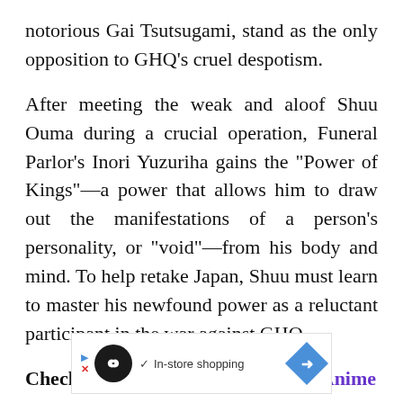notorious Gai Tsutsugami, stand as the only opposition to GHQ’s cruel despotism.
After meeting the weak and aloof Shuu Ouma during a crucial operation, Funeral Parlor’s Inori Yuzuriha gains the “Power of Kings”—a power that allows him to draw out the manifestations of a person’s personality, or “void”—from his body and mind. To help retake Japan, Shuu must learn to master his newfound power as a reluctant participant in the war against GHQ.
Check Out: 30 Of The Best Mecha Anime
[Figure (other): Advertisement banner with a black circle logo containing an infinity-like symbol, a checkmark, the text 'In-store shopping', and a blue diamond arrow icon on the right.]